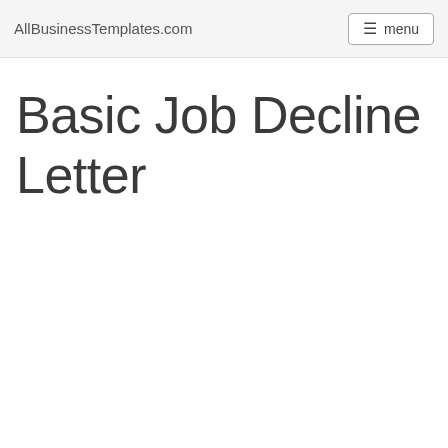AllBusinessTemplates.com  menu
Basic Job Decline Letter